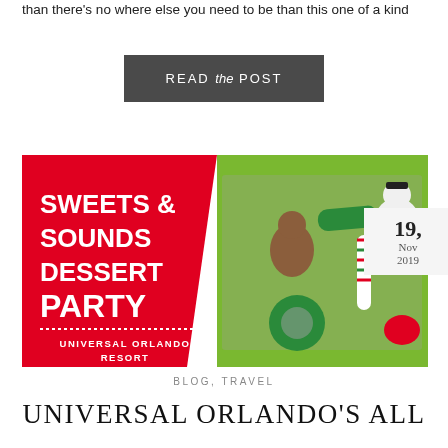than there's no where else you need to be than this one of a kind
READ the POST
[Figure (illustration): Promotional image for Sweets & Sounds Dessert Party at Universal Orlando Resort, showing Christmas-themed cookies and desserts on a cooling rack on the right half, and bold white text on red background on the left half.]
19, Nov 2019
BLOG, TRAVEL
UNIVERSAL ORLANDO'S ALL